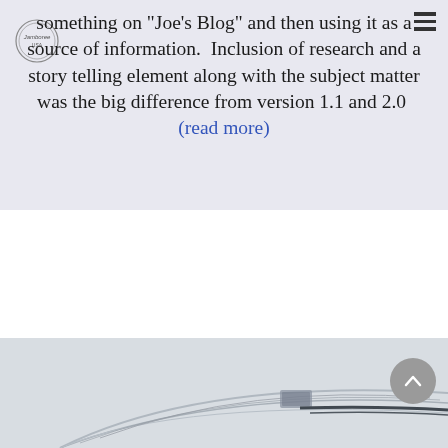something on "Joe's Blog" and then using it as a source of information.  Inclusion of research and a story telling element along with the subject matter was the big difference from version 1.1 and 2.0  (read more)
[Figure (photo): Partial view of what appears to be the curved roof or exterior of a large vehicle or building, showing metallic/grey surfaces with lines and a rectangular vent or window detail.]